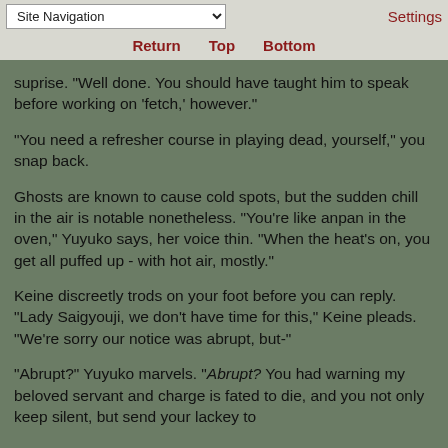Site Navigation | Return | Top | Bottom | Settings
suprise. 'Well done. You should have taught him to speak before working on 'fetch,' however."
"You need a refresher course in playing dead, yourself," you snap back.
Ghosts are known to cause cold spots, but the sudden chill in the air is notable nonetheless. "You're like anpan in the oven," Yuyuko says, her voice thin. "When the heat's on, you get all puffed up - with hot air, mostly."
Keine discreetly trods on your foot before you can reply. "Lady Saigyouji, we don't have time for this," Keine pleads. "We're sorry our notice was abrupt, but-"
"Abrupt?" Yuyuko marvels. "Abrupt? You had warning my beloved servant and charge is fated to die, and you not only keep silent, but send your lackey to